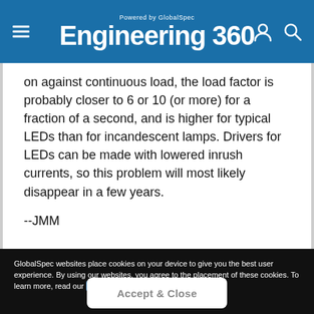Powered by GlobalSpec Engineering 360
on against continuous load, the load factor is probably closer to 6 or 10 (or more) for a fraction of a second, and is higher for typical LEDs than for incandescent lamps. Drivers for LEDs can be made with lowered inrush currents, so this problem will most likely disappear in a few years.
--JMM
GlobalSpec websites place cookies on your device to give you the best user experience. By using our websites, you agree to the placement of these cookies. To learn more, read our Privacy Policy
Accept & Close